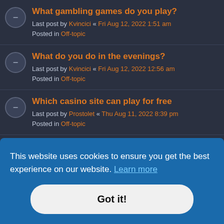What gambling games do you play? Last post by Kvincici « Fri Aug 12, 2022 1:51 am Posted in Off-topic
What do you do in the evenings? Last post by Kvincici « Fri Aug 12, 2022 12:56 am Posted in Off-topic
Which casino site can play for free Last post by Prostolet « Thu Aug 11, 2022 8:39 pm Posted in Off-topic
What advice would you give to a novice casino player?
This website uses cookies to ensure you get the best experience on our website. Learn more
Got it!